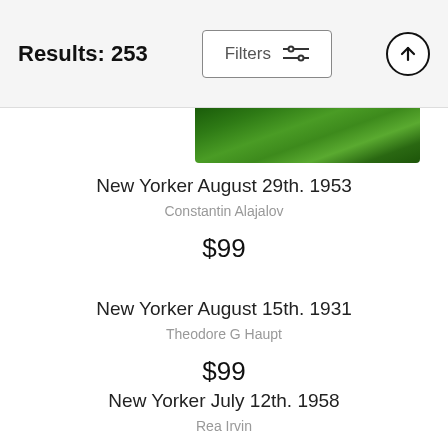Results: 253
[Figure (screenshot): Partial view of a green magazine cover (New Yorker) showing foliage/nature artwork, cropped at the top of the product listing]
New Yorker August 29th. 1953
Constantin Alajalov
$99
New Yorker August 15th. 1931
Theodore G Haupt
$99
New Yorker July 12th. 1958
Rea Irvin